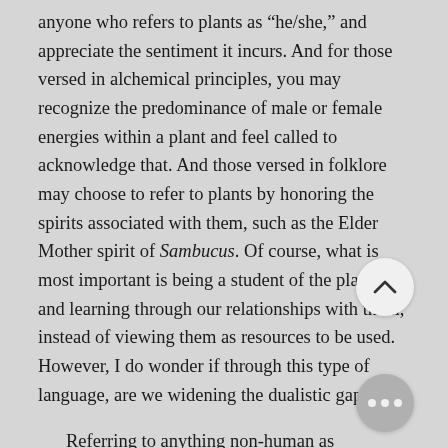anyone who refers to plants as “he/she,” and appreciate the sentiment it incurs. And for those versed in alchemical principles, you may recognize the predominance of male or female energies within a plant and feel called to acknowledge that. And those versed in folklore may choose to refer to plants by honoring the spirits associated with them, such as the Elder Mother spirit of Sambucus. Of course, what is most important is being a student of the plants and learning through our relationships with them, instead of viewing them as resources to be used. However, I do wonder if through this type of language, are we widening the dualistic gap?
Referring to anything non-human as “something” as opposed to a “someone” is very English language (and colonizer)